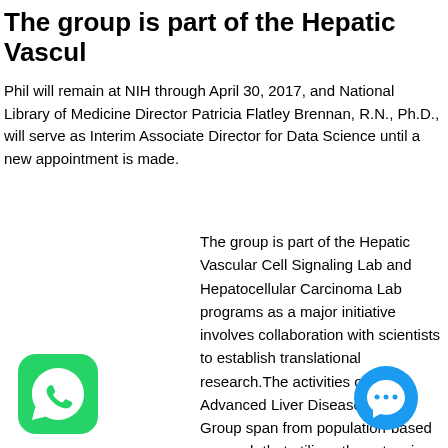The group is part of the Hepatic Vascul
Phil will remain at NIH through April 30, 2017, and National Library of Medicine Director Patricia Flatley Brennan, R.N., Ph.D., will serve as Interim Associate Director for Data Science until a new appointment is made.
The group is part of the Hepatic Vascular Cell Signaling Lab and Hepatocellular Carcinoma Lab programs as a major initiative involves collaboration with scientists to establish translational research.The activities of the Advanced Liver Diseases Study Group span from population-based research that utilizes the extensive research of the Rochester Epidemiology
[Figure (logo): WhatsApp green rounded square icon with white phone handset]
[Figure (other): Blue circular chat bubble icon]